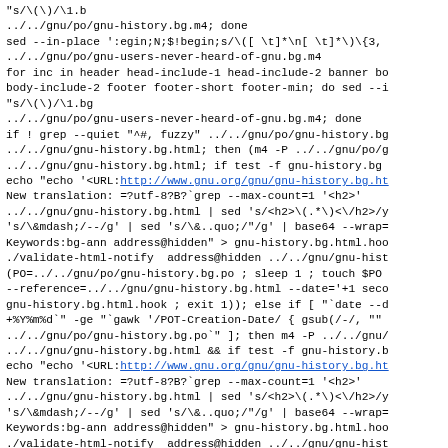"s/\(<!--#include virtual=\".*$inc\)\(.html\" -->\)/\1.b
../../gnu/po/gnu-history.bg.m4; done
sed --in-place ':egin;N;$!begin;s/\([ \t]*\n[ \t]*\)\{3,
../../gnu/po/gnu-users-never-heard-of-gnu.bg.m4
for inc in header head-include-1 head-include-2 banner bo
body-include-2 footer footer-short footer-min; do sed --
"s/\(<!--#include virtual=\".*$inc\)\(.html\" -->\)/\1.bg
../../gnu/po/gnu-users-never-heard-of-gnu.bg.m4; done
if ! grep --quiet "^#, fuzzy" ../../gnu/po/gnu-history.bg
../../gnu/gnu-history.bg.html; then (m4 -P ../../gnu/po/g
../../gnu/gnu-history.bg.html; if test -f gnu-history.bg
echo "echo '<URL:http://www.gnu.org/gnu/gnu-history.bg.ht
New translation: =?utf-8?B?`grep --max-count=1 '<h2>'
../../gnu/gnu-history.bg.html | sed 's/<h2>\(.*\)<\/h2>/y
's/\&mdash;/--/g' | sed 's/\&..quo;/"/g' | base64 --wrap=
Keywords:bg-ann address@hidden" > gnu-history.bg.html.hoo
./validate-html-notify  address@hidden ../../gnu/gnu-hist
(PO=../../gnu/po/gnu-history.bg.po ; sleep 1 ; touch $PO
--reference=../../gnu/gnu-history.bg.html --date='+1 seco
gnu-history.bg.html.hook ; exit 1)); else if [ "`date --d
+%Y%m%d`" -ge "`gawk '/POT-Creation-Date/ { gsub(/-/, ""
../../gnu/po/gnu-history.bg.po`" ]; then m4 -P ../../gnu/
../../gnu/gnu-history.bg.html && if test -f gnu-history.b
echo "echo '<URL:http://www.gnu.org/gnu/gnu-history.bg.ht
New translation: =?utf-8?B?`grep --max-count=1 '<h2>'
../../gnu/gnu-history.bg.html | sed 's/<h2>\(.*\)<\/h2>/y
's/\&mdash;/--/g' | sed 's/\&..quo;/"/g' | base64 --wrap=
Keywords:bg-ann address@hidden" > gnu-history.bg.html.hoo
./validate-html-notify  address@hidden ../../gnu/gnu-hist
(PO=../../gnu/po/gnu-history.bg.po ; sleep 1 ; touch $PO